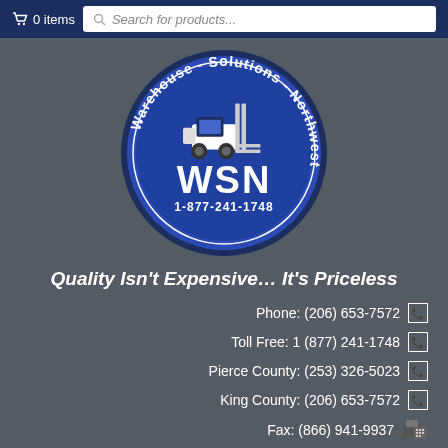0 items  Search for products...
[Figure (logo): Warehouse Solutions Northwest circular logo with forklift image, 'WSN' text, and phone number 1-877-241-1748]
Quality Isn't Expensive... It's Priceless
Phone: (206) 653-7572
Toll Free: 1 (877) 241-1748
Pierce County: (253) 326-5023
King County: (206) 653-7572
Fax: (866) 941-9937
Email: sales@wsnrack.com